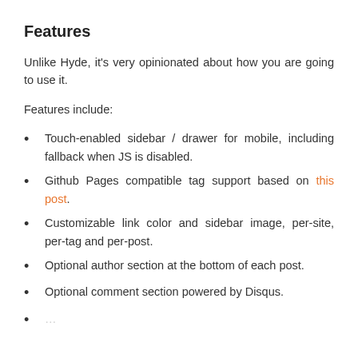Features
Unlike Hyde, it's very opinionated about how you are going to use it.
Features include:
Touch-enabled sidebar / drawer for mobile, including fallback when JS is disabled.
Github Pages compatible tag support based on this post.
Customizable link color and sidebar image, per-site, per-tag and per-post.
Optional author section at the bottom of each post.
Optional comment section powered by Disqus.
…